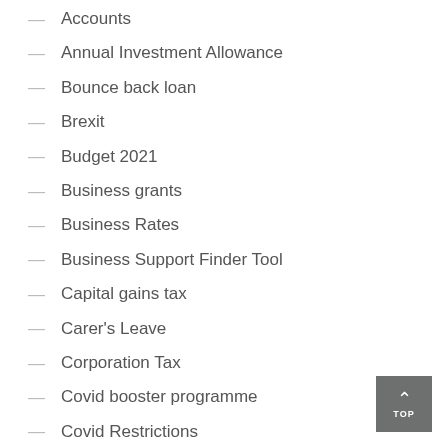Accounts
Annual Investment Allowance
Bounce back loan
Brexit
Budget 2021
Business grants
Business Rates
Business Support Finder Tool
Capital gains tax
Carer's Leave
Corporation Tax
Covid booster programme
Covid Restrictions
Eat Out to Help Out
Filing Deadlines